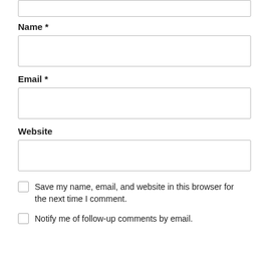[Figure (screenshot): Top portion of a textarea form field, partially visible at the top of the page]
Name *
[Figure (screenshot): Empty text input field for Name]
Email *
[Figure (screenshot): Empty text input field for Email]
Website
[Figure (screenshot): Empty text input field for Website]
Save my name, email, and website in this browser for the next time I comment.
Notify me of follow-up comments by email.